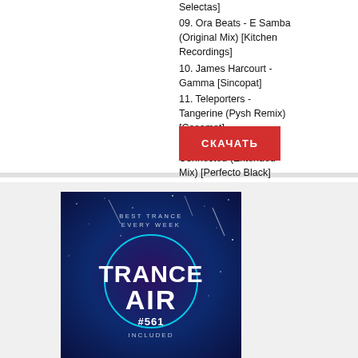Selectas]
09. Ora Beats - E Samba (Original Mix) [Kitchen Recordings]
10. James Harcourt - Gamma [Sincopat]
11. Teleporters - Tangerine (Pysh Remix) [Casomat]
12. Galestian - Connected (Extended Mix) [Perfecto Black]
СКАЧАТЬ
[Figure (illustration): Trance Air #561 album art with teal circle, space/galaxy background with stars and meteor streaks, text: BEST TRANCE EVERY WEEK, TRANCE AIR #561, INCLUDED]